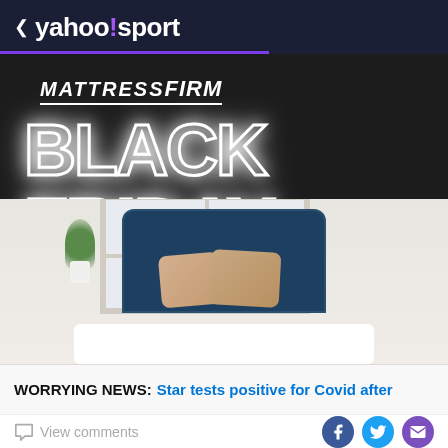< yahoo!sport
[Figure (photo): Mattress Firm Black Friday Now advertisement featuring a bed with blue headboard and pillows against a dark background with glowing white BLACK FRIDAY text and a red neon NOW badge]
WORRYING NEWS: Star tests positive for Covid after
View comments